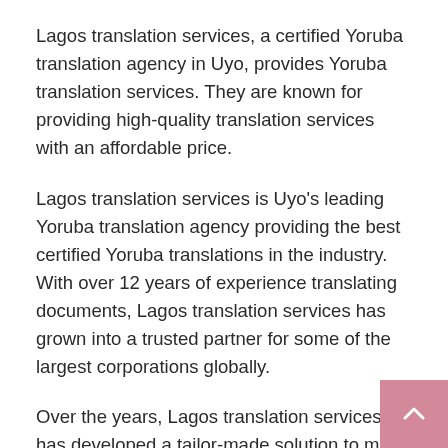Lagos translation services, a certified Yoruba translation agency in Uyo, provides Yoruba translation services. They are known for providing high-quality translation services with an affordable price.
Lagos translation services is Uyo's leading Yoruba translation agency providing the best certified Yoruba translations in the industry. With over 12 years of experience translating documents, Lagos translation services has grown into a trusted partner for some of the largest corporations globally.
Over the years, Lagos translation services has developed a tailor-made solution to meet client's needs. It provides translations from both sides of the language barrier with its Spanish and English versions on its website and app which are designed to increase efficiency and consistency of delivery.